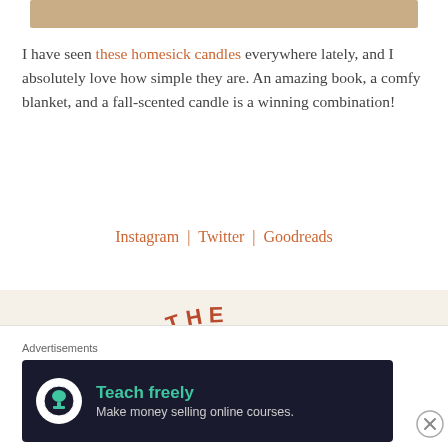[Figure (photo): Top portion of a product image — tan/beige background strip]
I have seen these homesick candles everywhere lately, and I absolutely love how simple they are. An amazing book, a comfy blanket, and a fall-scented candle is a winning combination!
Instagram | Twitter | Goodreads
[Figure (photo): Candle label with 'ENJOYS THE' text in a circular arc pattern, with terracotta/orange flame shapes below on a cream background]
Advertisements
[Figure (infographic): Advertisement banner: dark navy background with Thinkific logo (tree on person icon in white circle), 'Teach freely' in teal bold text, 'Make money selling online courses.' in light gray text]